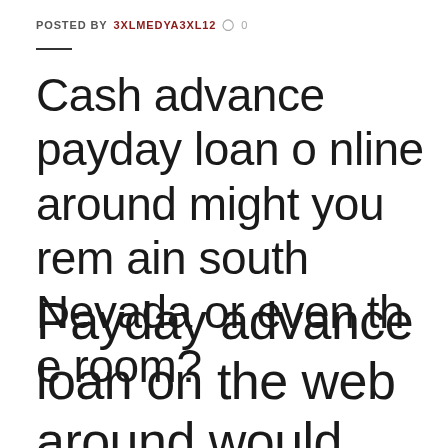POSTED BY 3XLMEDYA3XL12  0
Cash advance payday loan online around might you remain south Nevada or even the room?
Payday advance loan on the web around would you remain south